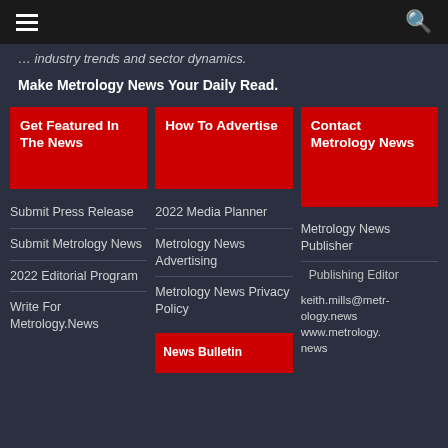≡  🔍
industry trends and sector dynamics.
Make Metrology News Your Daily Read.
Get Featured In The News
How To Advertise
Contact Metrology News
Submit Press Release
Submit Metrology News
2022 Editorial Program
Write For Metrology.News
2022 Media Planner
Metrology News Advertising
Metrology News Privacy Policy
Metrology News Publisher
Publishing Editor
keith.mills@metrology.news
www.metrology.news